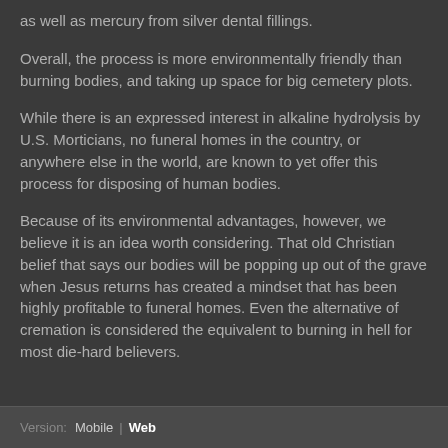as well as mercury from silver dental fillings.
Overall, the process is more environmentally friendly than burning bodies, and taking up space for big cemetery plots.
While there is an expressed interest in alkaline hydrolysis by U.S. Morticians, no funeral homes in the country, or anywhere else in the world, are known to yet offer this process for disposing of human bodies.
Because of its environmental advantages, however, we believe it is an idea worth considering. That old Christian belief that says our bodies will be popping up out of the grave when Jesus returns has created a mindset that has been highly profitable to funeral homes. Even the alternative of cremation is considered the equivalent to burning in hell for most die-hard believers.
Version: Mobile | Web